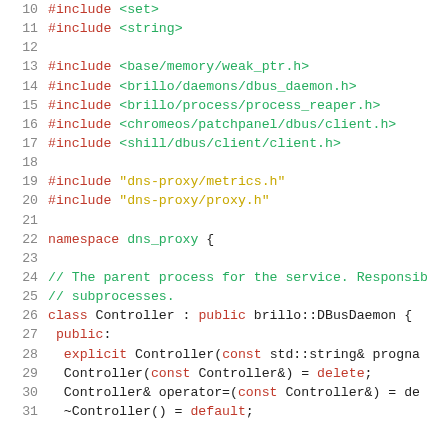Source code listing showing C++ includes and class declaration for dns_proxy Controller, lines 10-31
[Figure (screenshot): C++ source code listing with line numbers 10-31, showing #include directives and beginning of Controller class declaration in dns_proxy namespace]